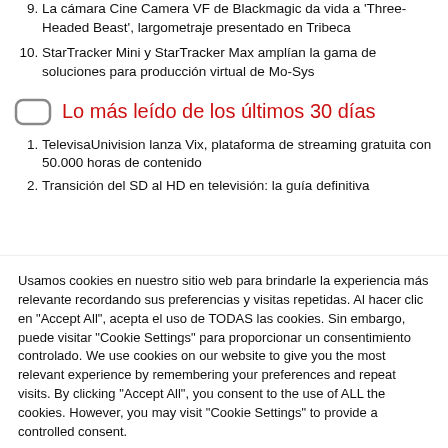9. La cámara Cine Camera VF de Blackmagic da vida a 'Three-Headed Beast', largometraje presentado en Tribeca
10. StarTracker Mini y StarTracker Max amplían la gama de soluciones para producción virtual de Mo-Sys
Lo más leído de los últimos 30 días
1. TelevisaUnivision lanza Vix, plataforma de streaming gratuita con 50.000 horas de contenido
2. Transición del SD al HD en televisión: la guía definitiva
Usamos cookies en nuestro sitio web para brindarle la experiencia más relevante recordando sus preferencias y visitas repetidas. Al hacer clic en "Accept All", acepta el uso de TODAS las cookies. Sin embargo, puede visitar "Cookie Settings" para proporcionar un consentimiento controlado. We use cookies on our website to give you the most relevant experience by remembering your preferences and repeat visits. By clicking "Accept All", you consent to the use of ALL the cookies. However, you may visit "Cookie Settings" to provide a controlled consent.
Cookie Settings   Accept All